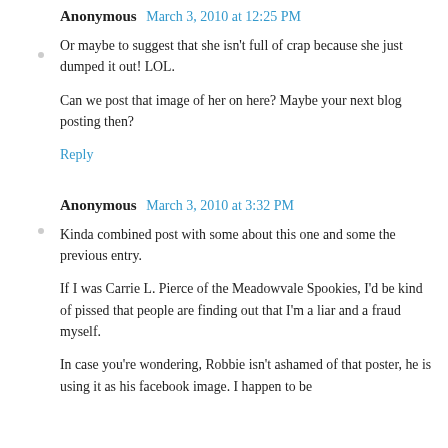Anonymous  March 3, 2010 at 12:25 PM
Or maybe to suggest that she isn't full of crap because she just dumped it out! LOL.

Can we post that image of her on here? Maybe your next blog posting then?

Reply
Anonymous  March 3, 2010 at 3:32 PM
Kinda combined post with some about this one and some the previous entry.

If I was Carrie L. Pierce of the Meadowvale Spookies, I'd be kind of pissed that people are finding out that I'm a liar and a fraud myself.

In case you're wondering, Robbie isn't ashamed of that poster, he is using it as his facebook image. I happen to be